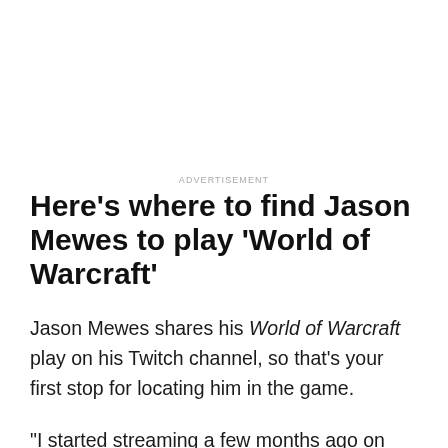ADVERTISEMENT
Here's where to find Jason Mewes to play 'World of Warcraft'
Jason Mewes shares his World of Warcraft play on his Twitch channel, so that's your first stop for locating him in the game.
“I started streaming a few months ago on Twitch,” Mewes said. “Blizzard sent me the cool World of Warcraft Classic chest which came with a jacket and a statue and the game. I